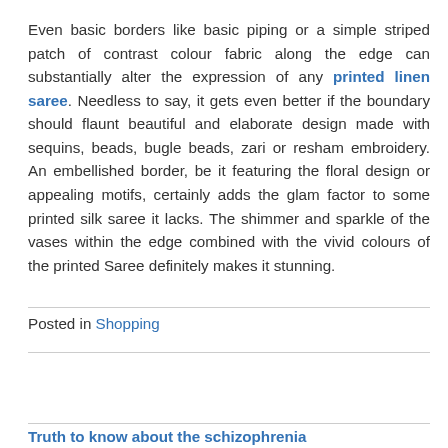Even basic borders like basic piping or a simple striped patch of contrast colour fabric along the edge can substantially alter the expression of any printed linen saree. Needless to say, it gets even better if the boundary should flaunt beautiful and elaborate design made with sequins, beads, bugle beads, zari or resham embroidery. An embellished border, be it featuring the floral design or appealing motifs, certainly adds the glam factor to some printed silk saree it lacks. The shimmer and sparkle of the vases within the edge combined with the vivid colours of the printed Saree definitely makes it stunning.
Posted in Shopping
Truth to know about the schizophrenia